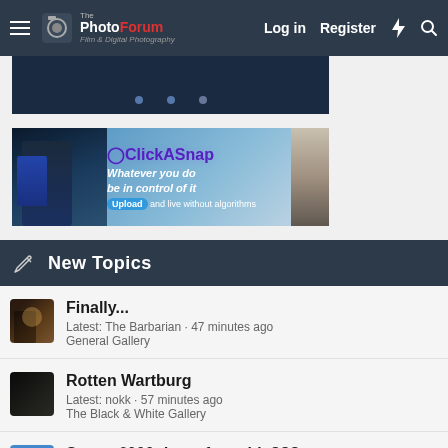The PhotoForum · Log in · Register
[Figure (screenshot): Dark blue banner placeholder with three dots]
[Figure (advertisement): ClickASnap advertisement banner: 'Whatever you do be in control of it. Upload and live without algorithms.']
New Topics
Finally... · Latest: The Barbarian · 47 minutes ago · General Gallery
Rotten Wartburg · Latest: nokk · 57 minutes ago · The Black & White Gallery
Sony a6000 data xfer cable???